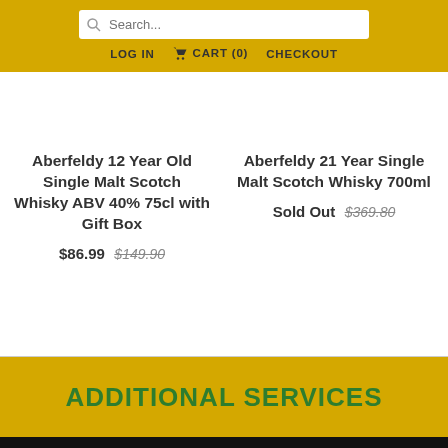Search... | LOG IN | CART (0) | CHECKOUT
Aberfeldy 12 Year Old Single Malt Scotch Whisky ABV 40% 75cl with Gift Box $86.99 $149.90
Aberfeldy 21 Year Single Malt Scotch Whisky 700ml Sold Out $369.80
ADDITIONAL SERVICES
Free shipping for orders over $100.00